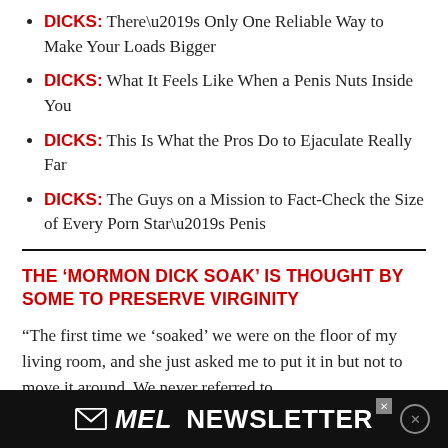DICKS: There’s Only One Reliable Way to Make Your Loads Bigger
DICKS: What It Feels Like When a Penis Nuts Inside You
DICKS: This Is What the Pros Do to Ejaculate Really Far
DICKS: The Guys on a Mission to Fact-Check the Size of Every Porn Star’s Penis
THE ‘MORMON DICK SOAK’ IS THOUGHT BY SOME TO PRESERVE VIRGINITY
“The first time we ‘soaked’ we were on the floor of my living room, and she just asked me to put it in but not to move it around. We never referred to
[Figure (other): MEL Newsletter advertisement bar at the bottom of the page, black background with white bold text reading MEL NEWSLETTER with an envelope icon.]